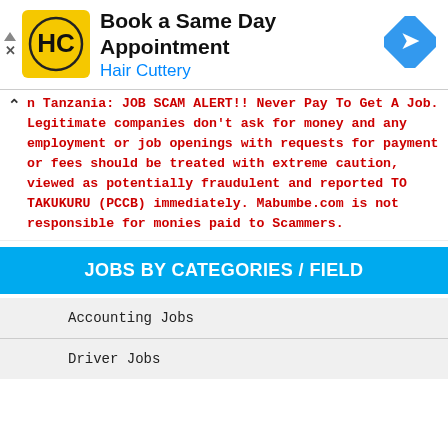[Figure (logo): Hair Cuttery advertisement banner with HC logo in yellow circle, blue arrow navigation icon, headline 'Book a Same Day Appointment' and subtitle 'Hair Cuttery']
n Tanzania: JOB SCAM ALERT!! Never Pay To Get A Job. Legitimate companies don't ask for money and any employment or job openings with requests for payment or fees should be treated with extreme caution, viewed as potentially fraudulent and reported TO TAKUKURU (PCCB) immediately. Mabumbe.com is not responsible for monies paid to Scammers.
JOBS BY CATEGORIES / FIELD
Accounting Jobs
Driver Jobs